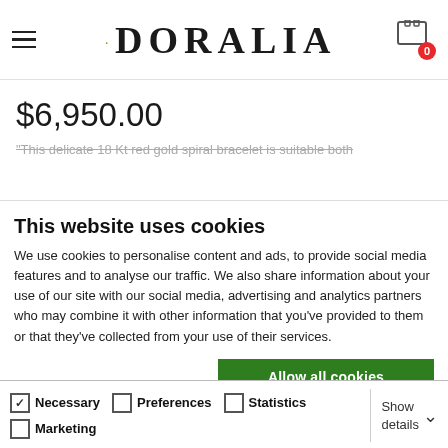[Figure (logo): Doralia jewelry brand logo with hamburger menu icon on left and shopping cart icon with red badge showing 0 on right]
$6,950.00
"This delicate 18 Kt red gold spiral bracelet is suitable both
This website uses cookies
We use cookies to personalise content and ads, to provide social media features and to analyse our traffic. We also share information about your use of our site with our social media, advertising and analytics partners who may combine it with other information that you've provided to them or that they've collected from your use of their services.
Allow all cookies
Allow selection
Use necessary cookies only
Necessary  Preferences  Statistics  Marketing  Show details